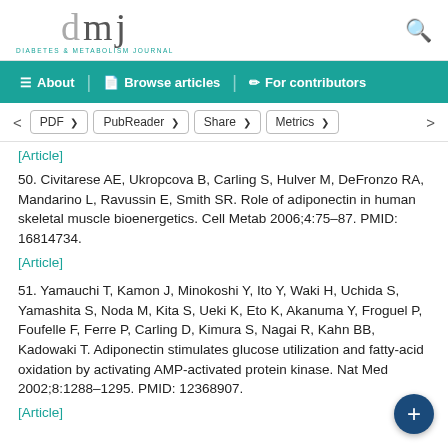dmj DIABETES & METABOLISM JOURNAL
[Article]
50. Civitarese AE, Ukropcova B, Carling S, Hulver M, DeFronzo RA, Mandarino L, Ravussin E, Smith SR. Role of adiponectin in human skeletal muscle bioenergetics. Cell Metab 2006;4:75–87. PMID: 16814734.
[Article]
51. Yamauchi T, Kamon J, Minokoshi Y, Ito Y, Waki H, Uchida S, Yamashita S, Noda M, Kita S, Ueki K, Eto K, Akanuma Y, Froguel P, Foufelle F, Ferre P, Carling D, Kimura S, Nagai R, Kahn BB, Kadowaki T. Adiponectin stimulates glucose utilization and fatty-acid oxidation by activating AMP-activated protein kinase. Nat Med 2002;8:1288–1295. PMID: 12368907.
[Article]